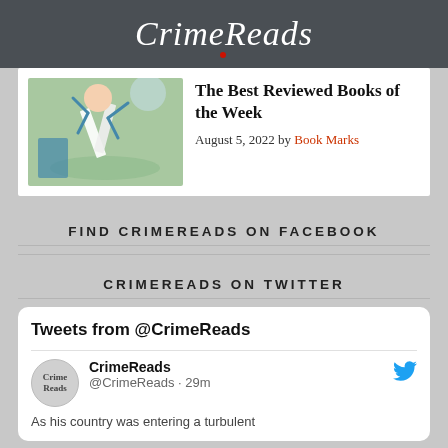CrimeReads
[Figure (photo): Person doing yoga/handstand outdoors with a book, green background]
The Best Reviewed Books of the Week
August 5, 2022 by Book Marks
FIND CRIMEREADS ON FACEBOOK
CRIMEREADS ON TWITTER
Tweets from @CrimeReads
CrimeReads @CrimeReads · 29m
As his country was entering a turbulent